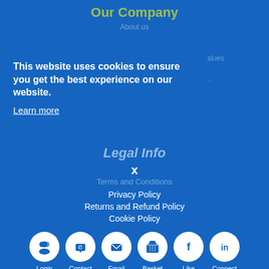Our Company
About us
Our Core Values
Sitemap
This website uses cookies to ensure you get the best experience on our website.
Learn more
Legal Info
x
Terms and Conditions
Privacy Policy
Returns and Refund Policy
Cookie Policy
[Figure (infographic): Six circular icon buttons: Login, Contact, Email, Basket, Like, Connect]
[Figure (logo): Secured by Astra badge with green checkmark, domain: newlinewalls.co.uk]